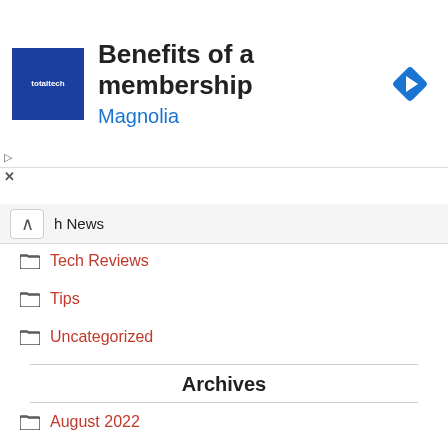[Figure (illustration): Advertisement banner: TotalTech logo (blue square), title 'Benefits of a membership', subtitle 'Magnolia', and a blue diamond arrow icon on the right]
h News
Tech Reviews
Tips
Uncategorized
Archives
August 2022
July 2022
June 2022
May 2022
April 2022
March 2022